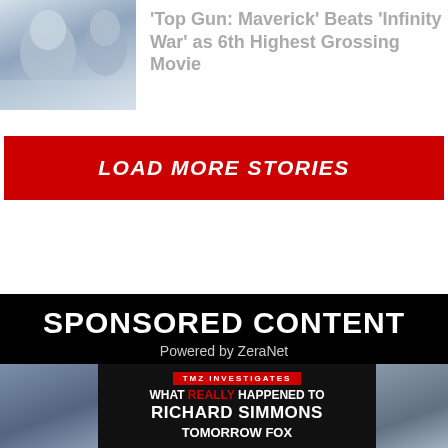[Figure (photo): Article thumbnail showing two faces, one male and one with a helmet/character]
'Top Gun: Maverick' Beats 'Infinity War' as 6th Highest Grossing Movie
LOAD MORE STORIES
SPONSORED CONTENT
Powered by ZeraNet
[Figure (screenshot): TMZ Investigates advertisement: WHAT REALLY HAPPENED TO RICHARD SIMMONS — TOMORROW FOX]